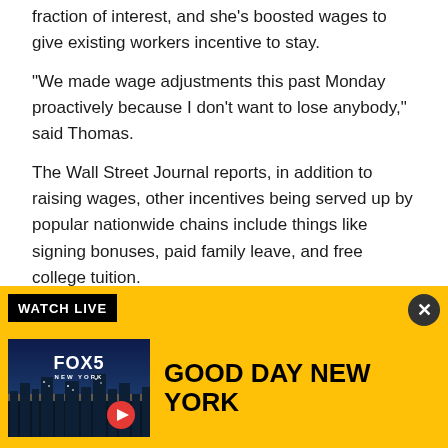fraction of interest, and she’s boosted wages to give existing workers incentive to stay.
"We made wage adjustments this past Monday proactively because I don’t want to lose anybody," said Thomas.
The Wall Street Journal reports, in addition to raising wages, other incentives being served up by popular nationwide chains include things like signing bonuses, paid family leave, and free college tuition.
Bucking the trend locally, Scott’s Seafood in Oakland
[Figure (screenshot): FOX5 Good Day New York advertisement banner with yellow background, WATCH LIVE label, FOX5 New York thumbnail image with city skyline, red play button, and GOOD DAY NEW YORK text in bold black.]